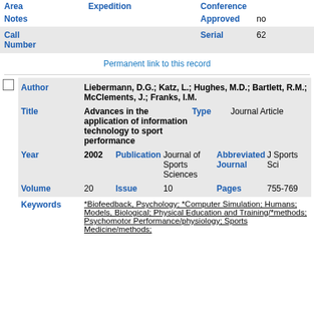| Area | Expedition | Conference |
| Notes |  | Approved | no |
| Call Number |  | Serial | 62 |
Permanent link to this record
| Author | Title | Type | Year | Publication | Abbreviated Journal | Volume | Issue | Pages |
| --- | --- | --- | --- | --- | --- | --- | --- | --- |
| Liebermann, D.G.; Katz, L.; Hughes, M.D.; Bartlett, R.M.; McClements, J.; Franks, I.M. |
| Advances in the application of information technology to sport performance |  | Journal Article |
| 2002 | Journal of Sports Sciences | J Sports Sci |
| 20 | 10 | 755-769 |
*Biofeedback, Psychology; *Computer Simulation; Humans; Models, Biological; Physical Education and Training/*methods; Psychomotor Performance/physiology; Sports Medicine/methods;